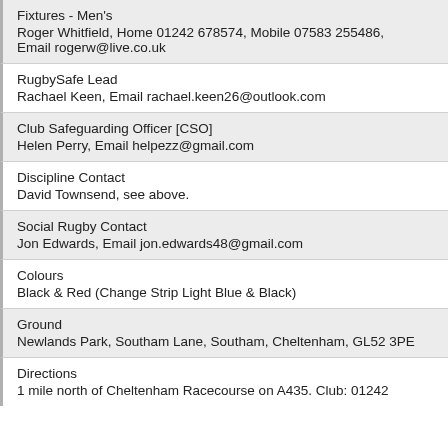Fixtures - Men's
Roger Whitfield, Home 01242 678574, Mobile 07583 255486, Email rogerw@live.co.uk
RugbySafe Lead
Rachael Keen, Email rachael.keen26@outlook.com
Club Safeguarding Officer [CSO]
Helen Perry, Email helpezz@gmail.com
Discipline Contact
David Townsend, see above.
Social Rugby Contact
Jon Edwards, Email jon.edwards48@gmail.com
Colours
Black & Red (Change Strip Light Blue & Black)
Ground
Newlands Park, Southam Lane, Southam, Cheltenham, GL52 3PE
Directions
1 mile north of Cheltenham Racecourse on A435. Club: 01242